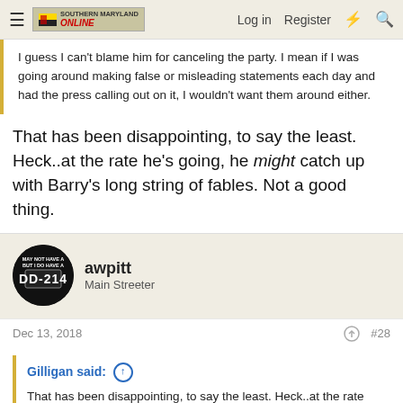Southern Maryland Online — Log in   Register
I guess I can't blame him for canceling the party. I mean if I was going around making false or misleading statements each day and had the press calling out on it, I wouldn't want them around either.
That has been disappointing, to say the least. Heck..at the rate he's going, he might catch up with Barry's long string of fables. Not a good thing.
awpitt
Main Streeter
Dec 13, 2018
#28
Gilligan said:
That has been disappointing, to say the least. Heck..at the rate he's going, he might catch up with Barry's long string of fables. Not a good thing.